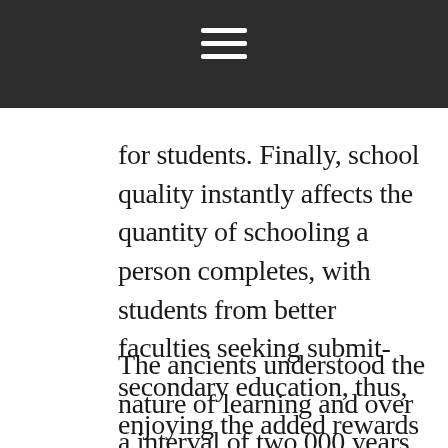for students. Finally, school quality instantly affects the quantity of schooling a person completes, with students from better faculties seeking submit-secondary education, thus, enjoying the added rewards of elevated education.
The ancients understood the nature of learning and over a interval of two,000 years developed a method of education designed to produce in college students a love for learning and deep understanding. To provide distinctive performing arts programming and academic engagements that encourage and join individuals to transformative